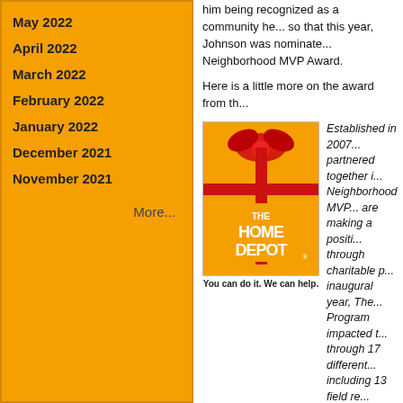May 2022
April 2022
March 2022
February 2022
January 2022
December 2021
November 2021
More...
him being recognized as a community he... so that this year, Johnson was nominate... Neighborhood MVP Award.
Here is a little more on the award from th...
[Figure (photo): Home Depot gift box with red bow and caption 'You can do it. We can help.']
Established in 2007... partnered together... Neighborhood MVP... are making a positi... through charitable p... inaugural year, The... Program impacted t... through 17 different... including 13 field re... and a community center improvement pr...
This year, of the 17 players who were no... the list: Johnson of the Houston Texans a... Dolphins. We enourage Canes fans to v...
Here is my interview with Hurricane le... Andre Johnson:
86Cane: Andre, thanks for taking time to...